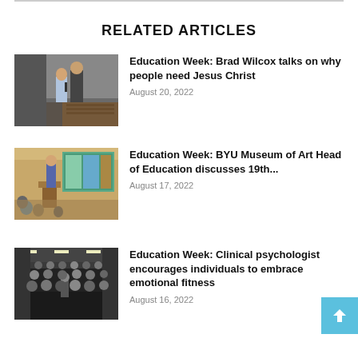RELATED ARTICLES
[Figure (photo): Two people on a stage, one holding a microphone, in a dimly lit auditorium with wooden seating visible.]
Education Week: Brad Wilcox talks on why people need Jesus Christ
August 20, 2022
[Figure (photo): A presenter at a podium in a conference room with a projection screen showing colorful images, and audience members visible from behind.]
Education Week: BYU Museum of Art Head of Education discusses 19th...
August 17, 2022
[Figure (photo): A large lecture hall filled with audience members seated in rows, viewed from the back, with a presenter visible at the front.]
Education Week: Clinical psychologist encourages individuals to embrace emotional fitness
August 16, 2022